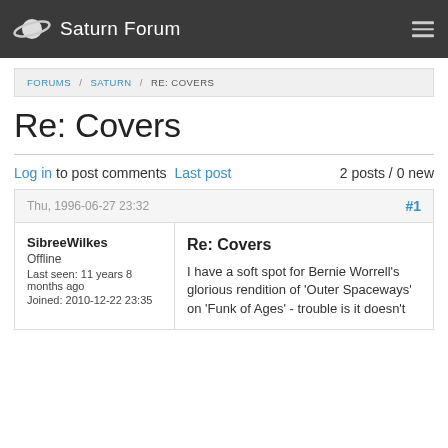Saturn Forum
FORUMS / SATURN / RE: COVERS
Re: Covers
Log in to post comments  Last post  2 posts / 0 new
Thu, 1996-06-27 23:32  #1
SibreeWilkes
Offline
Last seen: 11 years 8 months ago
Joined: 2010-12-22 23:35
Re: Covers
I have a soft spot for Bernie Worrell's glorious rendition of 'Outer Spaceways' on 'Funk of Ages' - trouble is it doesn't